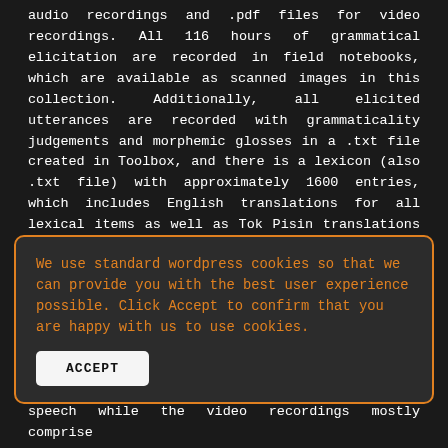audio recordings and .pdf files for video recordings. All 116 hours of grammatical elicitation are recorded in field notebooks, which are available as scanned images in this collection. Additionally, all elicited utterances are recorded with grammaticality judgements and morphemic glosses in a .txt file created in Toolbox, and there is a lexicon (also .txt file) with approximately 1600 entries, which includes English translations for all lexical items as well as Tok Pisin translations for some. A Koro—English—Tok Pisin dictionary exported from Toolbox is available as a .pdf file, along with English and Tok Pisin indexes. The collection also includes the researcher's dissertation, which describes and analyzes serial verb constructions (SVCs) in Koro, some working
We use standard wordpress cookies so that we can provide you with the best user experience possible. Click Accept to confirm that you are happy with us to use cookies.
speech while the video recordings mostly comprise